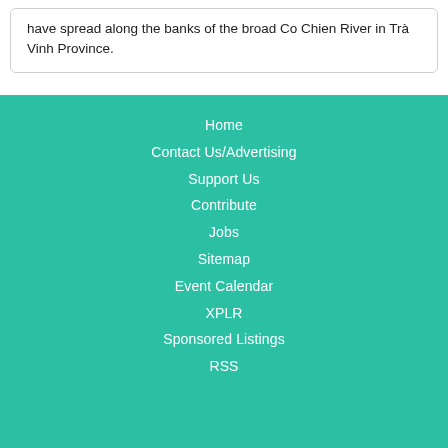have spread along the banks of the broad Co Chien River in Trà Vinh Province.
Home
Contact Us/Advertising
Support Us
Contribute
Jobs
Sitemap
Event Calendar
XPLR
Sponsored Listings
RSS